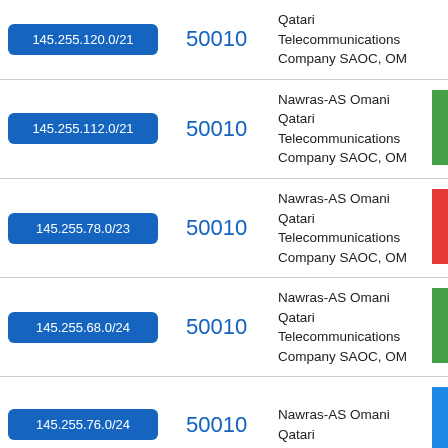| IP Range | ASN | Organization | Status |
| --- | --- | --- | --- |
| 145.255.120.0/21 | 50010 | Qatari Telecommunications Company SAOC, OM |  |
| 145.255.112.0/21 | 50010 | Nawras-AS Omani Qatari Telecommunications Company SAOC, OM | green |
| 145.255.78.0/23 | 50010 | Nawras-AS Omani Qatari Telecommunications Company SAOC, OM | red |
| 145.255.68.0/24 | 50010 | Nawras-AS Omani Qatari Telecommunications Company SAOC, OM | green |
| 145.255.76.0/24 | 50010 | Nawras-AS Omani Qatari | blue |